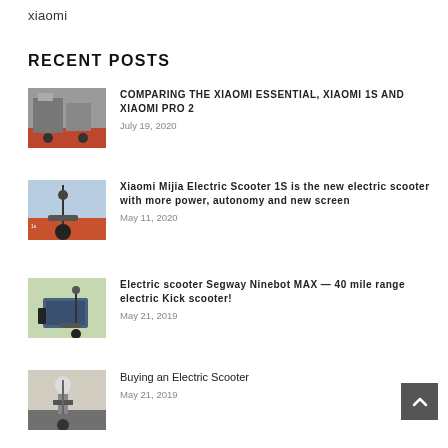xiaomi
RECENT POSTS
[Figure (photo): Two people with electric scooters near red structure]
COMPARING THE XIAOMI ESSENTIAL, XIAOMI 1S AND XIAOMI PRO 2
July 19, 2020
[Figure (photo): Xiaomi electric scooter product image on blue background with spec panels]
Xiaomi Mijia Electric Scooter 1S is the new electric scooter with more power, autonomy and new screen
May 11, 2020
[Figure (photo): Man in suit sitting next to Segway Ninebot electric scooter outdoors]
Electric scooter Segway Ninebot MAX — 40 mile range electric Kick scooter!
May 21, 2019
[Figure (photo): Person riding electric scooter on street]
Buying an Electric Scooter
May 21, 2019